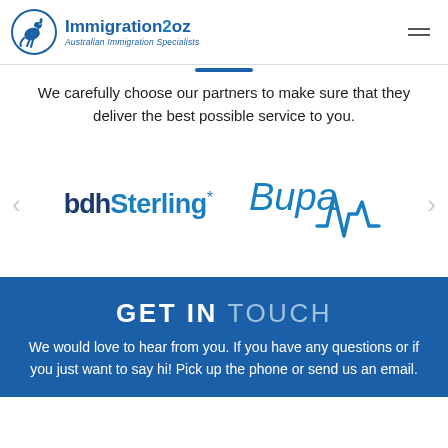Immigration2oz — Australian Immigration Specialists
We carefully choose our partners to make sure that they deliver the best possible service to you.
[Figure (logo): Partner logos carousel showing 'bdh Sterling*' and 'Bupa' logos with left/right navigation arrows]
GET IN TOUCH
We would love to hear from you. If you have any questions or if you just want to say hi! Pick up the phone or send us an email.